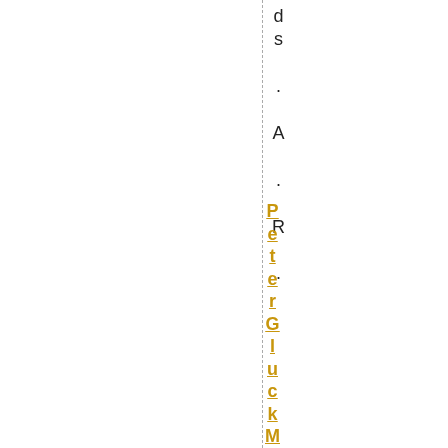ds .A .R .
PeterGluckMarch 2 ,2011